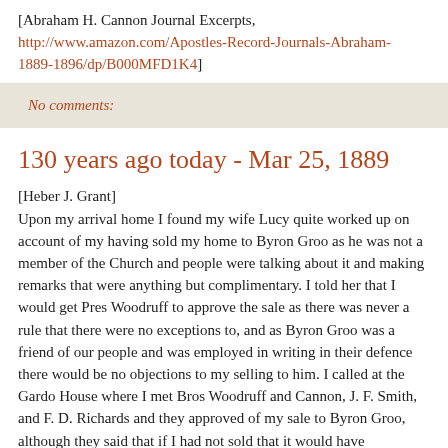[Abraham H. Cannon Journal Excerpts, http://www.amazon.com/Apostles-Record-Journals-Abraham-1889-1896/dp/B000MFD1K4]
No comments:
130 years ago today - Mar 25, 1889
[Heber J. Grant]
Upon my arrival home I found my wife Lucy quite worked up on account of my having sold my home to Byron Groo as he was not a member of the Church and people were talking about it and making remarks that were anything but complimentary. I told her that I would get Pres Woodruff to approve the sale as there was never a rule that there were no exceptions to, and as Byron Groo was a friend of our people and was employed in writing in their defence there would be no objections to my selling to him. I called at the Gardo House where I met Bros Woodruff and Cannon, J. F. Smith, and F. D. Richards and they approved of my sale to Byron Groo, although they said that if I had not sold that it would have